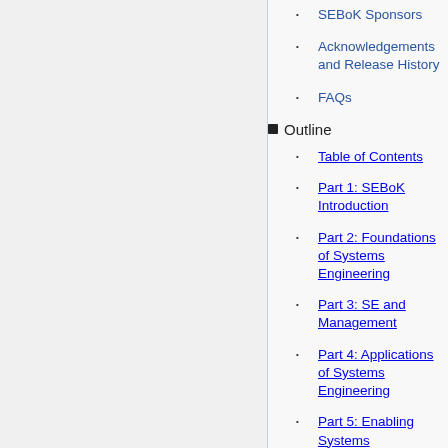SEBoK Sponsors
Acknowledgements and Release History
FAQs
Outline
Table of Contents
Part 1: SEBoK Introduction
Part 2: Foundations of Systems Engineering
Part 3: SE and Management
Part 4: Applications of Systems Engineering
Part 5: Enabling Systems Engineering
Part 6: Related